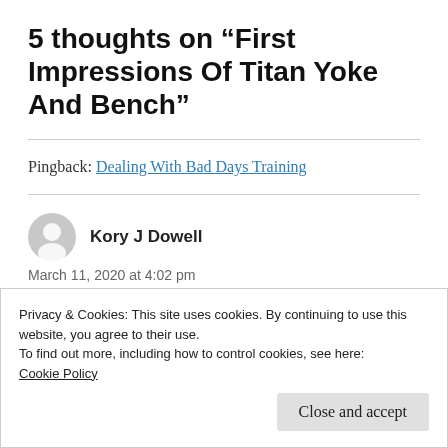5 thoughts on “First Impressions Of Titan Yoke And Bench”
Pingback: Dealing With Bad Days Training
Kory J Dowell
March 11, 2020 at 4:02 pm
Privacy & Cookies: This site uses cookies. By continuing to use this website, you agree to their use.
To find out more, including how to control cookies, see here: Cookie Policy
Close and accept